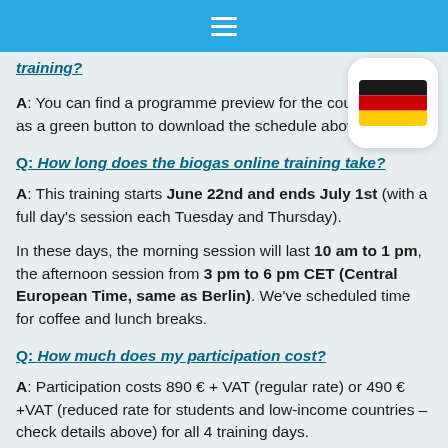Navigation bar with hamburger menu icon
training?
A: You can find a programme preview for the course as well as a green button to download the schedule above.
[Figure (illustration): German flag badge — circular white badge with rounded rectangle German flag (black, red, yellow horizontal stripes)]
Q: How long does the biogas online training take?
A: This training starts June 22nd and ends July 1st (with a full day's session each Tuesday and Thursday).
In these days, the morning session will last 10 am to 1 pm, the afternoon session from 3 pm to 6 pm CET (Central European Time, same as Berlin). We've scheduled time for coffee and lunch breaks.
Q: How much does my participation cost?
A: Participation costs 890 € + VAT (regular rate) or 490 € +VAT (reduced rate for students and low-income countries – check details above) for all 4 training days.